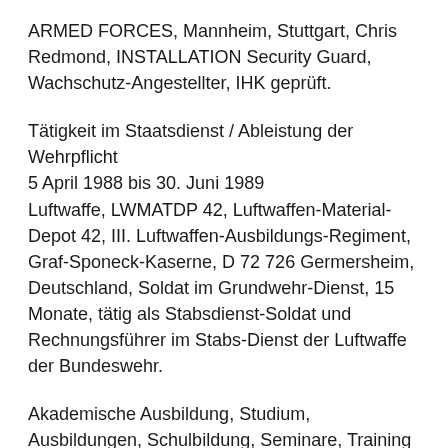ARMED FORCES, Mannheim, Stuttgart, Chris Redmond, INSTALLATION Security Guard, Wachschutz-Angestellter, IHK geprüft.
Tätigkeit im Staatsdienst / Ableistung der Wehrpflicht 5 April 1988 bis 30. Juni 1989 Luftwaffe, LWMATDP 42, Luftwaffen-Material-Depot 42, III. Luftwaffen-Ausbildungs-Regiment, Graf-Sponeck-Kaserne, D 72 726 Germersheim, Deutschland, Soldat im Grundwehr-Dienst, 15 Monate, tätig als Stabsdienst-Soldat und Rechnungsführer im Stabs-Dienst der Luftwaffe der Bundeswehr.
Akademische Ausbildung, Studium, Ausbildungen, Schulbildung, Seminare, Training und Kurse
11. April 2013 bis 11. April 2016, Ausbildung, Fernlehrgang, Fernstudium, Journalist, Journalismus, SGD